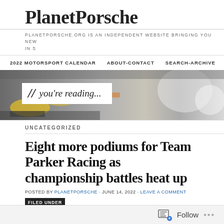PlanetPorsche
PLANETPORSCHE.ORG IS AN INDEPENDENT WEBSITE BRINGING YOU NEW IN S
2022 MOTORSPORT CALENDAR   ABOUT-CONTACT   SEARCH-ARCHIVE
[Figure (photo): Banner photo showing Porsche race cars, with a 'you're reading...' overlay text box]
UNCATEGORIZED
Eight more podiums for Team Parker Racing as championship battles heat up
POSTED BY PLANETPORSCHE · JUNE 14, 2022 · LEAVE A COMMENT
FILED UNDER 2022, CHARLES BATEMAN, JUSTIN SHERWOOD, KIERN JEWISS, OULTON PA PRANCING HORSES, PRANCINGHORSES, RACE REPORT, RYAN RATCLIFFE, SEB MORRIS, SI
Follow